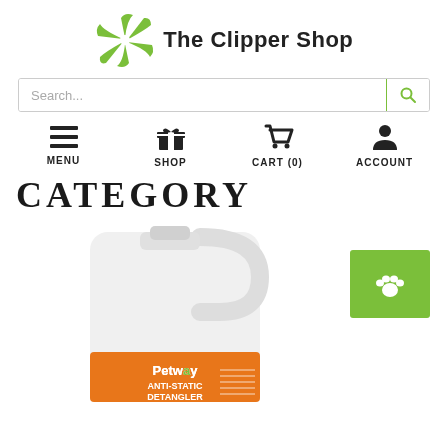[Figure (logo): The Clipper Shop logo with green pinwheel/fan blade graphic and bold text 'The Clipper Shop']
[Figure (screenshot): Search bar with placeholder text 'Search...' and green search icon button on right]
[Figure (screenshot): Navigation bar with four items: MENU (hamburger icon), SHOP (gift/present icon), CART (0) (cart icon), ACCOUNT (person icon)]
CATEGORY
[Figure (photo): Large white plastic jug/container with orange label showing 'Petway Anti-Static Detangler' product, partially cropped at bottom. A green square button with a white paw print icon is visible to the right of the product image.]